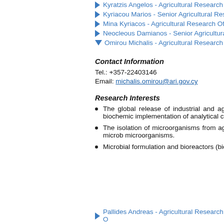Kyratzis Angelos - Agricultural Research O...
Kyriacou Marios - Senior Agricultural Rese...
Mina Kyriacos - Agricultural Research Offic...
Neocleous Damianos - Senior Agricultural...
Omirou Michalis - Agricultural Research O...
Contact Information
Tel.: +357-22403146
Email: michalis.omirou@ari.gov.cy
Research Interests
The global release of industrial and ag... pollution. I am very interested to study t... microbial communities using biochemic... implementation of analytical chemistry r... help us to understand their relation with m...
The isolation of microorganisms from ... agriculture, industry and the environmen... solubilizing bacteria are important microb... microorganisms.
Microbial formulation and bioreactors (bio...
Pallides Andreas - Agricultural Research O...